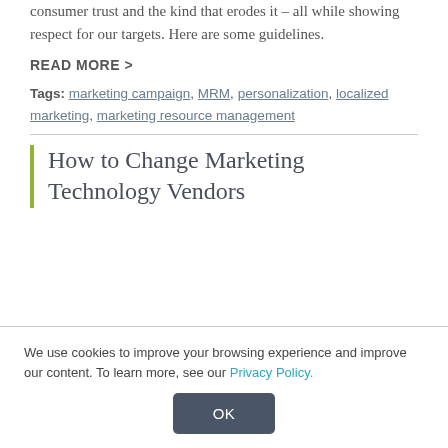consumer trust and the kind that erodes it – all while showing respect for our targets. Here are some guidelines.
READ MORE >
Tags: marketing campaign, MRM, personalization, localized marketing, marketing resource management
How to Change Marketing Technology Vendors
We use cookies to improve your browsing experience and improve our content. To learn more, see our Privacy Policy.
OK